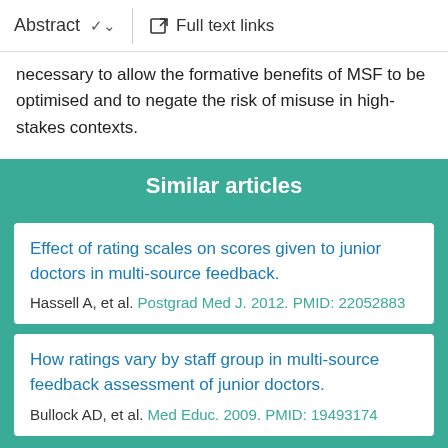Abstract  ∨    Full text links
necessary to allow the formative benefits of MSF to be optimised and to negate the risk of misuse in high-stakes contexts.
Similar articles
Effect of rating scales on scores given to junior doctors in multi-source feedback.
Hassell A, et al. Postgrad Med J. 2012. PMID: 22052883
How ratings vary by staff group in multi-source feedback assessment of junior doctors.
Bullock AD, et al. Med Educ. 2009. PMID: 19493174